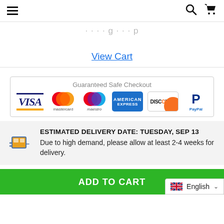[hamburger menu] [search icon] [cart icon]
View Cart
[Figure (infographic): Guaranteed Safe Checkout banner with payment logos: VISA, Mastercard, Maestro, American Express, Discover, PayPal]
ESTIMATED DELIVERY DATE: TUESDAY, SEP 13
Due to high demand, please allow at least 2-4 weeks for delivery.
ADD TO CART
English